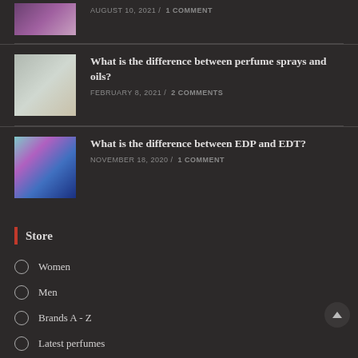[Figure (photo): Partial view of a perfume bottle with purple/pink background]
AUGUST 10, 2021 / 1 COMMENT
[Figure (photo): Clear glass perfume bottles with gold details]
What is the difference between perfume sprays and oils?
FEBRUARY 8, 2021 / 2 COMMENTS
[Figure (photo): Blue perfume bottle with iridescent colorful background]
What is the difference between EDP and EDT?
NOVEMBER 18, 2020 / 1 COMMENT
Store
Women
Men
Brands A - Z
Latest perfumes
Useful Links